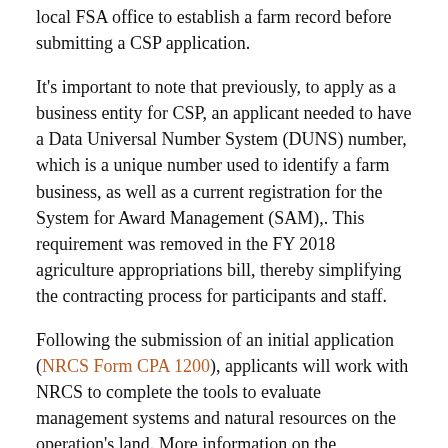local FSA office to establish a farm record before submitting a CSP application.
It's important to note that previously, to apply as a business entity for CSP, an applicant needed to have a Data Universal Number System (DUNS) number, which is a unique number used to identify a farm business, as well as a current registration for the System for Award Management (SAM),. This requirement was removed in the FY 2018 agriculture appropriations bill, thereby simplifying the contracting process for participants and staff.
Following the submission of an initial application (NRCS Form CPA 1200), applicants will work with NRCS to complete the tools to evaluate management systems and natural resources on the operation's land. More information on the application, evaluation, and ranking processes is available in NSAC's CSP Information Alert.
Total Funding Available in FY19
This year's CSP sign-up is the first under the 2018 Farm Bill